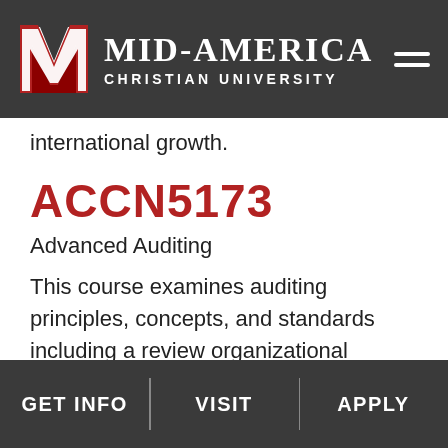[Figure (logo): Mid-America Christian University logo with red M emblem and white text on dark gray header background]
international growth.
ACCN5173
Advanced Auditing
This course examines auditing principles, concepts, and standards including a review organizational decision financial reporting and resolution of ethical issues.
GET INFO   VISIT   APPLY